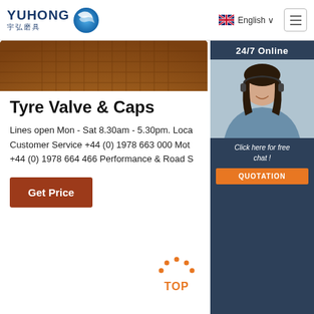[Figure (logo): Yuhong logo with Chinese characters and blue wave/globe icon]
English ∨
[Figure (photo): Brown textured circular abrasive product, partially visible]
[Figure (photo): 24/7 Online customer service panel with woman wearing headset, Click here for free chat!, QUOTATION button]
Tyre Valve & Caps
Lines open Mon - Sat 8.30am - 5.30pm. Local Customer Service +44 (0) 1978 663 000 Mot +44 (0) 1978 664 466 Performance & Road S
Get Price
[Figure (infographic): TOP button with orange dot arc above it]